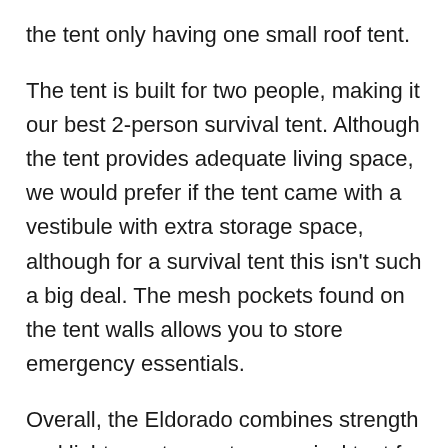the tent only having one small roof tent.
The tent is built for two people, making it our best 2-person survival tent. Although the tent provides adequate living space, we would prefer if the tent came with a vestibule with extra storage space, although for a survival tent this isn't such a big deal. The mesh pockets found on the tent walls allows you to store emergency essentials.
Overall, the Eldorado combines strength and lightness to create a survival tent for all situations. The survival tent is versatile, offers comfortable living, protects you during stormy weather, and is